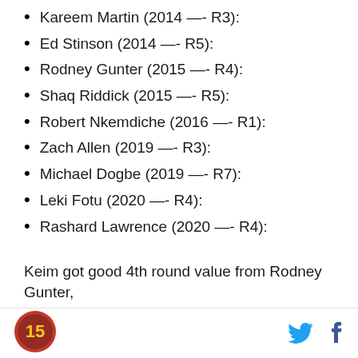Kareem Martin (2014 —- R3):
Ed Stinson (2014 —- R5):
Rodney Gunter (2015 —- R4):
Shaq Riddick (2015 —- R5):
Robert Nkemdiche (2016 —- R1):
Zach Allen (2019 —- R3):
Michael Dogbe (2019 —- R7):
Leki Fotu (2020 —- R4):
Rashard Lawrence (2020 —- R4):
Keim got good 4th round value from Rodney Gunter,